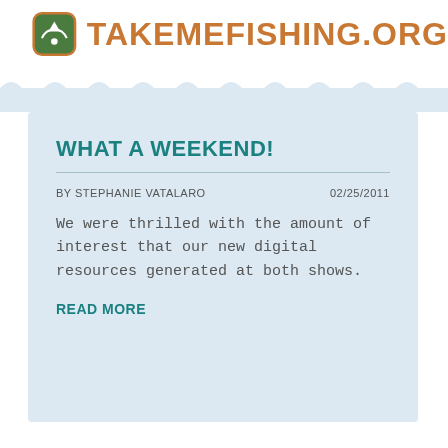TAKEMEFISHING.org
WHAT A WEEKEND!
BY STEPHANIE VATALARO   02/25/2011
We were thrilled with the amount of interest that our new digital resources generated at both shows.
READ MORE